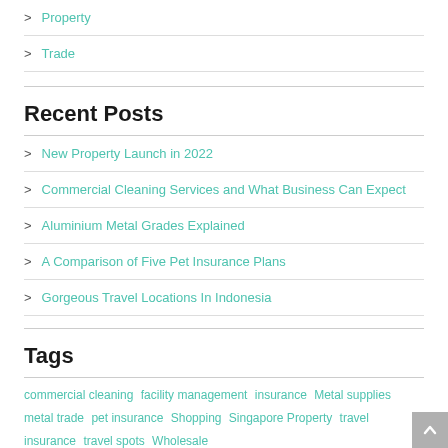> Property
> Trade
Recent Posts
> New Property Launch in 2022
> Commercial Cleaning Services and What Business Can Expect
> Aluminium Metal Grades Explained
> A Comparison of Five Pet Insurance Plans
> Gorgeous Travel Locations In Indonesia
Tags
commercial cleaning  facility management  insurance  Metal supplies  metal trade  pet insurance  Shopping  Singapore Property  travel insurance  travel spots  Wholesale